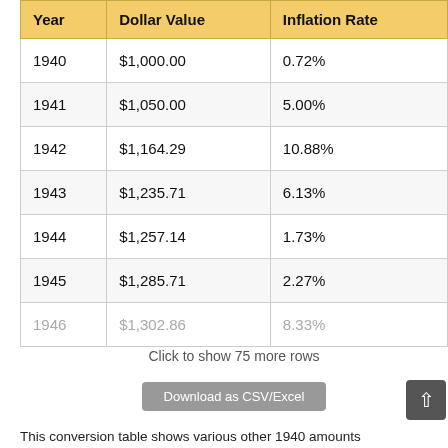| Year | Dollar Value | Inflation Rate |
| --- | --- | --- |
| 1940 | $1,000.00 | 0.72% |
| 1941 | $1,050.00 | 5.00% |
| 1942 | $1,164.29 | 10.88% |
| 1943 | $1,235.71 | 6.13% |
| 1944 | $1,257.14 | 1.73% |
| 1945 | $1,285.71 | 2.27% |
| 1946 | $1,302.86 | 8.33% |
Click to show 75 more rows
Download as CSV/Excel
This conversion table shows various other 1940 amounts